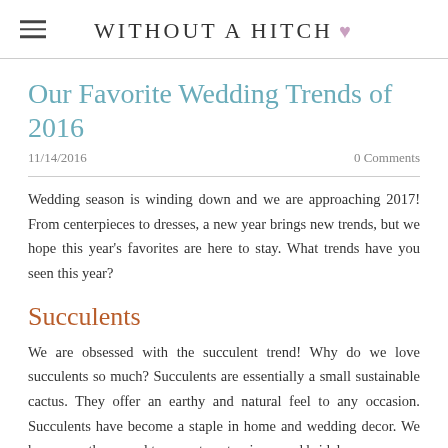Without A Hitch ♥
Our Favorite Wedding Trends of 2016
11/14/2016   0 Comments
Wedding season is winding down and we are approaching 2017! From centerpieces to dresses, a new year brings new trends, but we hope this year's favorites are here to stay. What trends have you seen this year?
Succulents
We are obsessed with the succulent trend! Why do we love succulents so much? Succulents are essentially a small sustainable cactus. They offer an earthy and natural feel to any occasion. Succulents have become a staple in home and wedding decor. We have seen them used to accent centerpieces and bridal